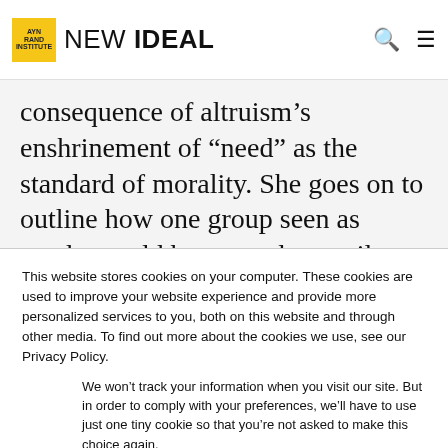NEW IDEAL
consequence of altruism’s enshrinement of “need” as the standard of morality. She goes on to outline how one group seen as needy would be catered to until another needier group was found, at which point the first group would be sacrificed to the second. Business would first be made to sacrifice to
This website stores cookies on your computer. These cookies are used to improve your website experience and provide more personalized services to you, both on this website and through other media. To find out more about the cookies we use, see our Privacy Policy.
We won’t track your information when you visit our site. But in order to comply with your preferences, we’ll have to use just one tiny cookie so that you’re not asked to make this choice again.
Accept
Decline